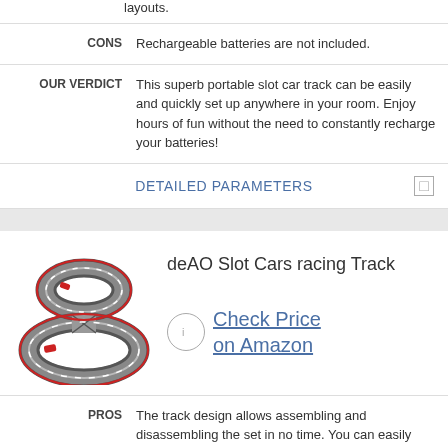layouts.
| CONS | Rechargeable batteries are not included. |
| OUR VERDICT | This superb portable slot car track can be easily and quickly set up anywhere in your room. Enjoy hours of fun without the need to constantly recharge your batteries! |
DETAILED PARAMETERS
deAO Slot Cars racing Track
[Figure (photo): Photo of a deAO slot car racing track set in a figure-8 layout with two small cars on the track]
Check Price on Amazon
PROS  The track design allows assembling and disassembling the set in no time. You can easily carry it to a park, a campsite or to your friend's house.